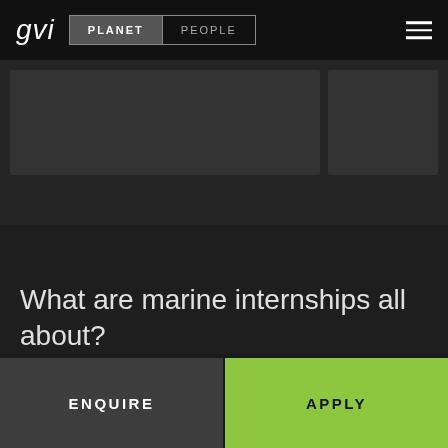gvi | PLANET | PEOPLE
[Figure (screenshot): Thumbnail images of marine scenes, two image cards partially visible on dark background]
What are marine internships all about?
ENQUIRE
APPLY